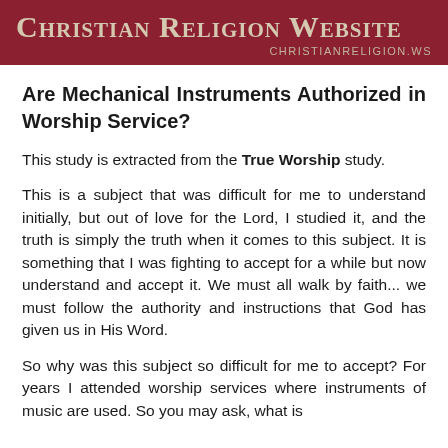CHRISTIAN RELIGION WEBSITE
CHRISTIANRELIGION.WS
Are Mechanical Instruments Authorized in Worship Service?
This study is extracted from the True Worship study.
This is a subject that was difficult for me to understand initially, but out of love for the Lord, I studied it, and the truth is simply the truth when it comes to this subject. It is something that I was fighting to accept for a while but now understand and accept it. We must all walk by faith... we must follow the authority and instructions that God has given us in His Word.
So why was this subject so difficult for me to accept? For years I attended worship services where instruments of music are used. So you may ask, what is